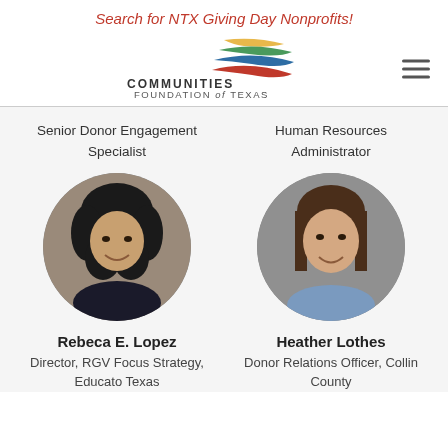Search for NTX Giving Day Nonprofits!
[Figure (logo): Communities Foundation of Texas logo with multicolored swoosh and text]
Senior Donor Engagement Specialist
Human Resources Administrator
[Figure (photo): Circular headshot photo of Rebeca E. Lopez, a woman with curly dark hair, smiling]
[Figure (photo): Circular headshot photo of Heather Lothes, a woman with straight brown hair, smiling]
Rebeca E. Lopez
Heather Lothes
Director, RGV Focus Strategy, Educato Texas
Donor Relations Officer, Collin County